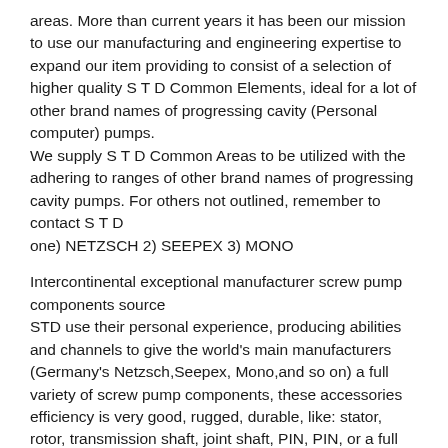areas. More than current years it has been our mission to use our manufacturing and engineering expertise to expand our item providing to consist of a selection of higher quality S T D Common Elements, ideal for a lot of other brand names of progressing cavity (Personal computer) pumps.
We supply S T D Common Areas to be utilized with the adhering to ranges of other brand names of progressing cavity pumps. For others not outlined, remember to contact S T D
one) NETZSCH 2) SEEPEX 3) MONO
Intercontinental exceptional manufacturer screw pump components source
STD use their personal experience, producing abilities and channels to give the world's main manufacturers (Germany's Netzsch,Seepex, Mono,and so on) a full variety of screw pump components, these accessories efficiency is very good, rugged, durable, like: stator, rotor, transmission shaft, joint shaft, PIN, PIN, or a full set of rotating components, etc.